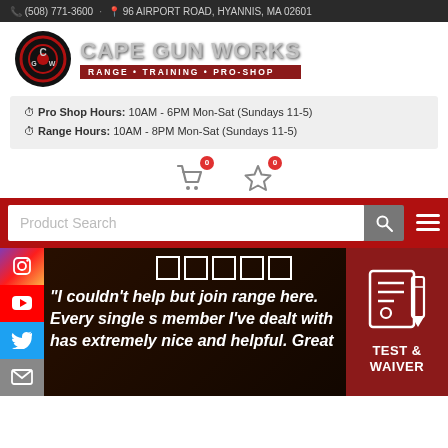(508) 771-3600 · 96 AIRPORT ROAD, HYANNIS, MA 02601
[Figure (logo): Cape Gun Works logo — CGW circular target logo with text CAPE GUN WORKS and tagline RANGE • TRAINING • PRO-SHOP]
Pro Shop Hours: 10AM - 6PM Mon-Sat (Sundays 11-5)
Range Hours: 10AM - 8PM Mon-Sat (Sundays 11-5)
[Figure (infographic): Shopping cart icon with badge 0 and star/wishlist icon with badge 0]
[Figure (screenshot): Red navigation bar with Product Search input field, search button, and hamburger menu icon]
[Figure (infographic): Social media buttons on left side: Instagram, YouTube, Twitter, Email]
"I couldn't help but join range here. Every single s member I've dealt with has extremely nice and helpful. Great
[Figure (infographic): TEST & WAIVER button with document and pen icon on red background]